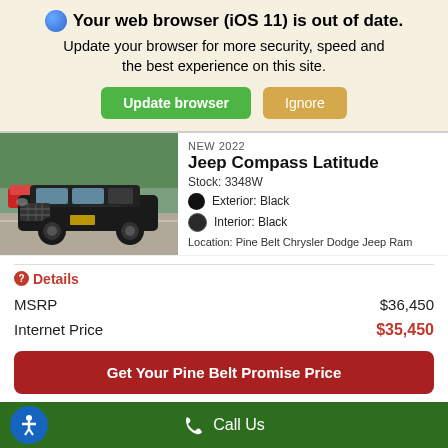🌐 Your web browser (iOS 11) is out of date. Update your browser for more security, speed and the best experience on this site.
Update browser | Ignore
[Figure (photo): Black Jeep Compass Latitude SUV in a parking lot]
NEW 2022
Jeep Compass Latitude
Stock: 3348W
Exterior: Black
Interior: Black
Location: Pine Belt Chrysler Dodge Jeep Ram
❷Details
|  |  |
| --- | --- |
| MSRP | $36,450 |
| Internet Price | $35,450 |
Get Your Pine Belt Promise Price
Call Us